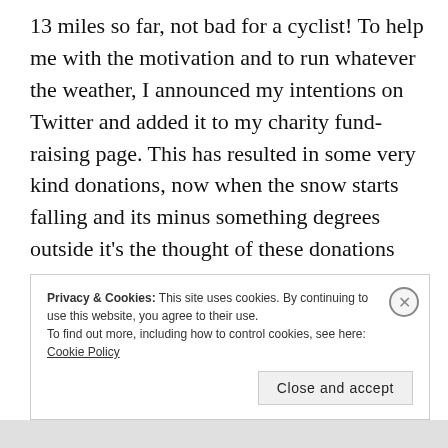13 miles so far, not bad for a cyclist! To help me with the motivation and to run whatever the weather, I announced my intentions on Twitter and added it to my charity fund-raising page. This has resulted in some very kind donations, now when the snow starts falling and its minus something degrees outside it’s the thought of these donations that will ensure I’m out the door and running.
Privacy & Cookies: This site uses cookies. By continuing to use this website, you agree to their use.
To find out more, including how to control cookies, see here: Cookie Policy
Close and accept